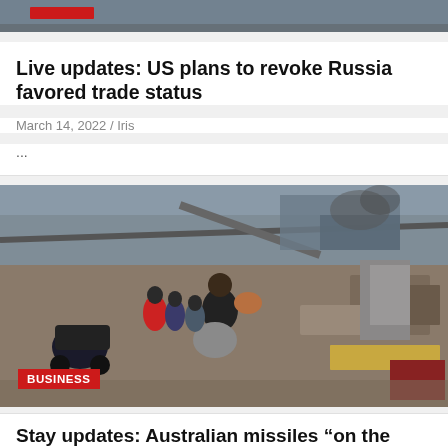[Figure (photo): Top strip of a news photo partially visible at top of page, with red label bar]
Live updates: US plans to revoke Russia favored trade status
March 14, 2022 / Iris
...
[Figure (photo): War scene showing civilians evacuating through destroyed bridge area in Ukraine. A woman carries a dog and large bag. A pram is visible on the left. People are walking through rubble. A red BUSINESS badge is overlaid on the bottom left.]
Stay updates: Australian missiles “on the floor”